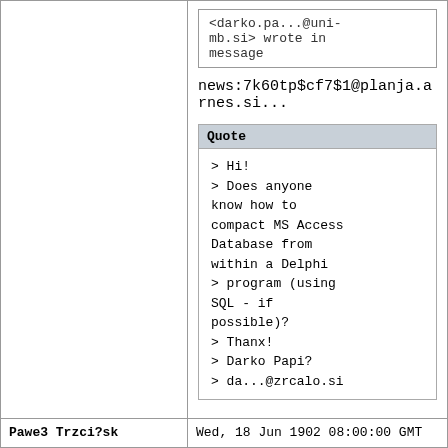<darko.pa...@uni-mb.si> wrote in message
news:7k60tp$cf7$1@planja.arnes.si...
Quote
> Hi!
> Does anyone know how to compact MS Access Database from within a Delphi
> program (using SQL - if possible)?
> Thanx!
> Darko Papi?
> da...@zrcalo.si
Pawe3 Trzci?sk
Wed, 18 Jun 1902 08:00:00 GMT